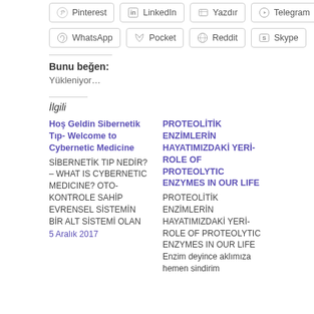Pinterest
LinkedIn
Yazdır
Telegram
WhatsApp
Pocket
Reddit
Skype
Bunu beğen:
Yükleniyor…
İlgili
Hoş Geldin Sibernetik Tıp- Welcome to Cybernetic Medicine
SİBERNETİK TIP NEDİR? – WHAT IS CYBERNETIC MEDICINE? OTO-KONTROLE SAHİP EVRENSEL SİSTEMİN BİR ALT SİSTEMİ OLAN
5 Aralık 2017
PROTEOLİTİK ENZİMLERİN HAYATIMIZDAKİ YERİ- ROLE OF PROTEOLYTIC ENZYMES IN OUR LIFE
PROTEOLİTİK ENZİMLERİN HAYATIMIZDAKİ YERİ- ROLE OF PROTEOLYTIC ENZYMES IN OUR LIFE Enzim deyince aklımıza hemen sindirim